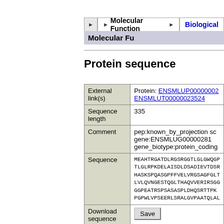Molecular Function | Biological ...
Molecular Fu...
Protein sequence
|  |  |
| --- | --- |
| External link(s) | Protein: ENSMLUP00000002... ENSMLUT00000023524 |
| Sequence length | 335 |
| Comment | pep:known_by_projection sc... gene:ENSMLUG000000281... gene_biotype:protein_coding |
| Sequence | MEAHTRGATDLRGSRGGTLGLGWQGP TLGLRPKDELAISDLDSADIEVTDSR HASKSPQASGPFFVELVRGSAGFGLT LVLQVNGESTQGLTHAQVVERIRSGG GGPEATRSPSASASPLDHQSRTTPK PGPWLVPSEERLSRALGVPAATQLAL |
| Download sequence | Save |